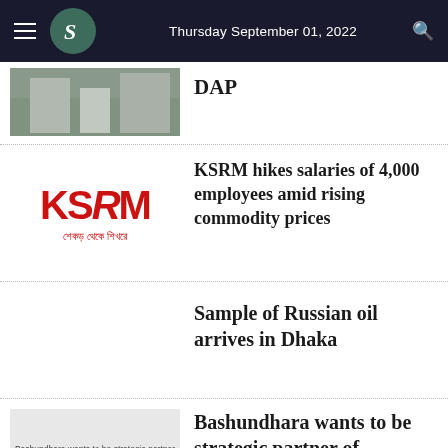Thursday September 01, 2022
[Figure (photo): Aerial or street view photo of a building (partially visible, top of page)]
DAP
[Figure (logo): KSRM logo in red with Bengali tagline 'শেকড় থেকে শিখরে']
KSRM hikes salaries of 4,000 employees amid rising commodity prices
Sample of Russian oil arrives in Dhaka
[Figure (photo): Thumbnail image for Bashundhara article, shown as broken/loading image placeholder]
Bashundhara wants to be strategic partner of Chittagong Stock